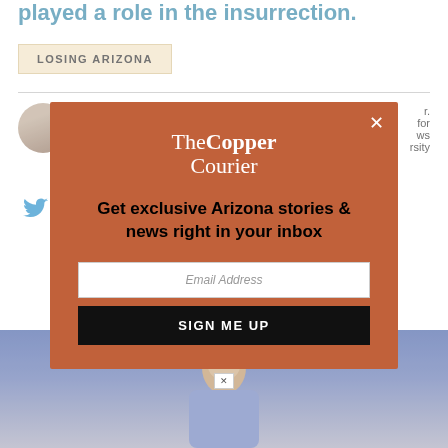played a role in the insurrection.
LOSING ARIZONA
Bree ... She ... The ... in So... and ...
[Figure (screenshot): Modal popup for The Copper Courier newsletter signup with email address field and Sign Me Up button on an orange-brown background]
[Figure (photo): Photo of a person (man) at bottom of page]